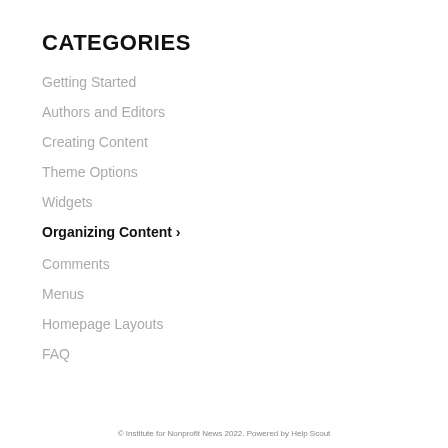CATEGORIES
Getting Started
Authors and Editors
Creating Content
Theme Options
Widgets
Organizing Content ›
Comments
Menus
Homepage Layouts
FAQ
© Institute for Nonprofit News 2022. Powered by Help Scout